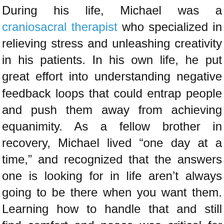During his life, Michael was a craniosacral therapist who specialized in relieving stress and unleashing creativity in his patients. In his own life, he put great effort into understanding negative feedback loops that could entrap people and push them away from achieving equanimity. As a fellow brother in recovery, Michael lived “one day at a time,” and recognized that the answers one is looking for in life aren’t always going to be there when you want them. Learning how to handle that and still find comfort and peace was critical for finding equanimity in his life — a lesson we put into practice as a business every day.